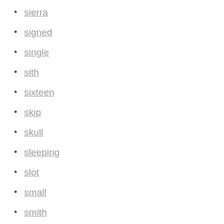sierra
signed
single
sith
sixteen
skip
skull
sleeping
slot
small
smith
smittys
smokey
smuttynose
snap
snow
snowshoe
solid
solving
south